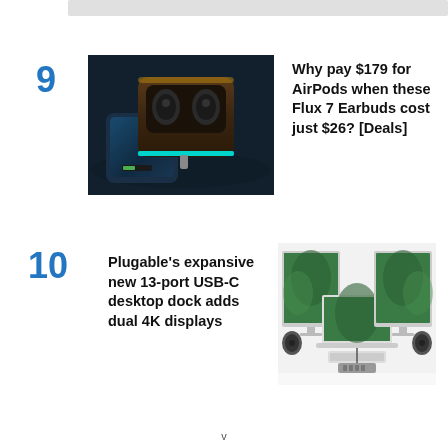9 Why pay $179 for AirPods when these Flux 7 Earbuds cost just $26? [Deals]
[Figure (photo): Dark-themed product photo of Flux 7 wireless earbuds charging case with earbuds inside, glowing teal/blue LED accents, placed on top of a smartphone with a green battery indicator, dark background]
10 Plugable's expansive new 13-port USB-C desktop dock adds dual 4K displays
[Figure (photo): Product illustration showing Plugable USB-C desktop dock connected to a laptop with two large external monitors displaying green wallpaper, with speakers and keyboard on a white desk surface]
v